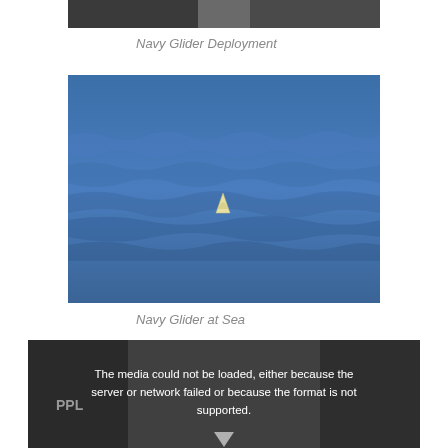[Figure (photo): Partial view of a Navy Glider Deployment photo, cropped at the top of the page showing people on a boat deck]
Navy Glider Deployment
[Figure (photo): A Navy underwater glider floating at the ocean surface on blue open water, with just the tail fin visible above the waves]
Navy Glider at Sea
[Figure (photo): A video player showing a dark/grayscale scene of people near equipment with a media error message: 'The media could not be loaded, either because the server or network failed or because the format is not supported.']